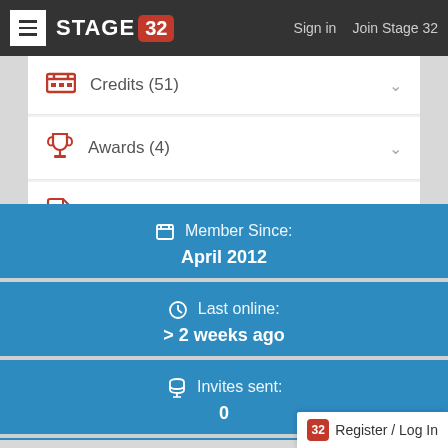STAGE 32 | Sign in  Join Stage 32
Credits (51)
Awards (4)
Resume
Member Since: April 2012
Last online: > 2 weeks ago
Invites sent: 0
Register / Log In